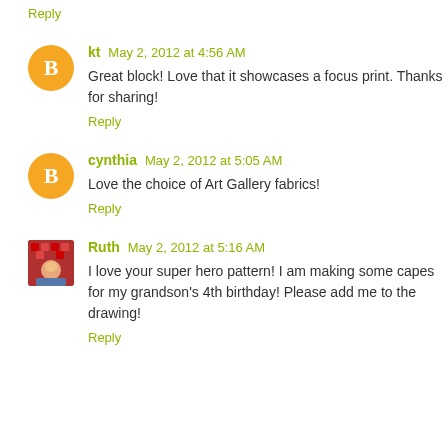Reply
kt  May 2, 2012 at 4:56 AM
Great block! Love that it showcases a focus print. Thanks for sharing!
Reply
cynthia  May 2, 2012 at 5:05 AM
Love the choice of Art Gallery fabrics!
Reply
Ruth  May 2, 2012 at 5:16 AM
I love your super hero pattern! I am making some capes for my grandson's 4th birthday! Please add me to the drawing!
Reply